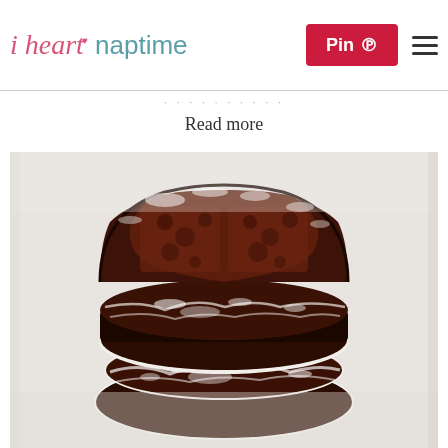i heart naptime — Pin | Menu
Read more
[Figure (photo): Stack of chocolate crinkle cookies dusted with powdered sugar, with the top cookie broken in half showing the fudgy interior, stacked on a light background]